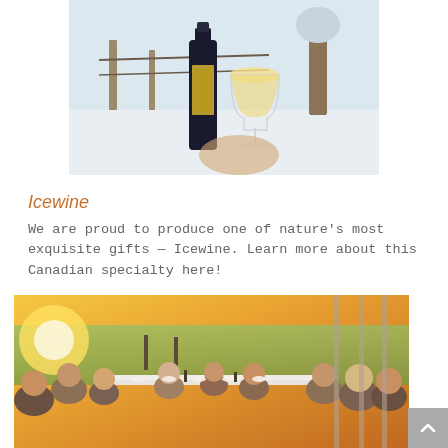[Figure (photo): A bottle of icewine and a wine glass filled with golden wine, set against a snowy winter vineyard background]
Icewine
We are proud to produce one of nature's most exquisite gifts — Icewine. Learn more about this Canadian specialty here!
[Figure (photo): People dining outdoors at a long table in a vineyard at golden hour sunset, with green fields in the background]